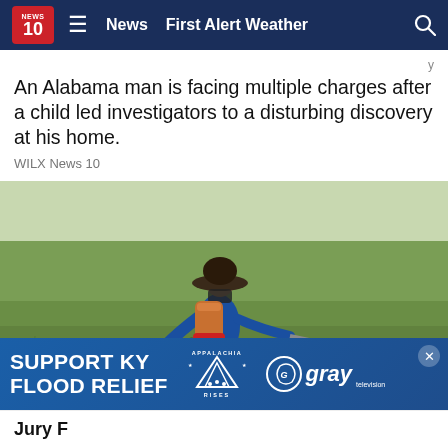NEWS 10  ≡  News  First Alert Weather  🔍
An Alabama man is facing multiple charges after a child led investigators to a disturbing discovery at his home.
WILX News 10
[Figure (photo): A farmer wearing a wide-brimmed hat, face covering, blue long-sleeve shirt, shorts, and rubber boots walks through a wet rice paddy field while spraying pesticide from a motorized backpack sprayer. The spray shoots forward in a white mist. The background shows green rice shoots and an open field.]
[Figure (infographic): Advertisement banner: SUPPORT KY FLOOD RELIEF with Appalachia Rises and gray television logos]
Jury F